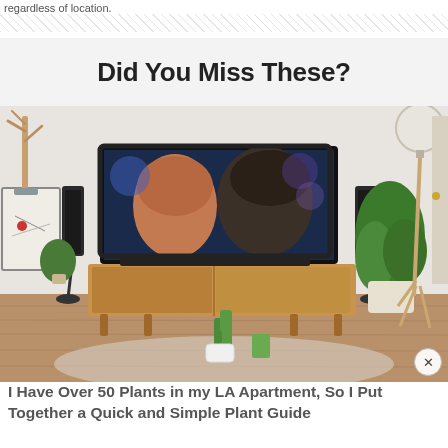regardless of location.
Did You Miss These?
[Figure (photo): A modern living room with a large flat-screen TV on a wooden media console showing two people in a close scene. Speakers flank the TV, houseplants are arranged around the room, and a small cactus sits in the foreground on a round rug.]
I Have Over 50 Plants in my LA Apartment, So I Put Together a Quick and Simple Plant Guide